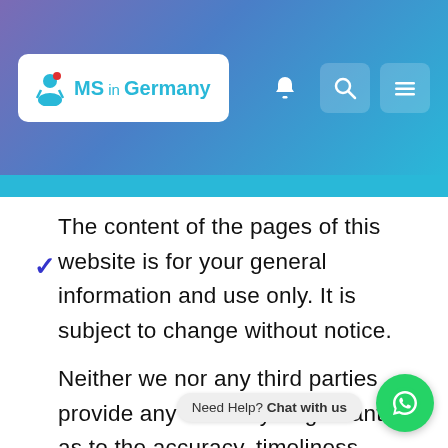[Figure (logo): MS in Germany logo with teal text and person icon, white box with rounded corners]
The content of the pages of this website is for your general information and use only. It is subject to change without notice.
Neither we nor any third parties provide any warranty or guarantee as to the accuracy, timeliness, performance, suitability of the information and
Need Help? Chat with us